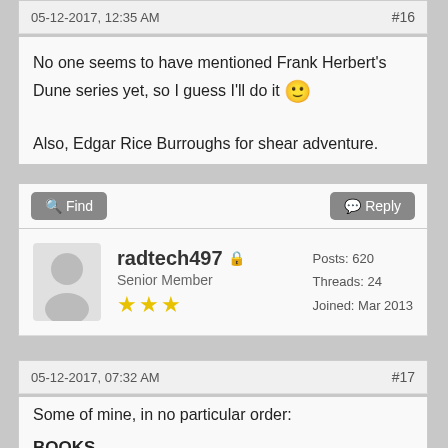05-12-2017, 12:35 AM
#16
No one seems to have mentioned Frank Herbert's Dune series yet, so I guess I'll do it 🙂

Also, Edgar Rice Burroughs for shear adventure.
radtech497 - Senior Member - Posts: 620, Threads: 24, Joined: Mar 2013
05-12-2017, 07:32 AM
#17
Some of mine, in no particular order:

BOOKS
The Years of Rice and Salt , Kim Stanley Robinson
Alternities, Michael P. Kube-McDowell
Ringworld, Larry Niven